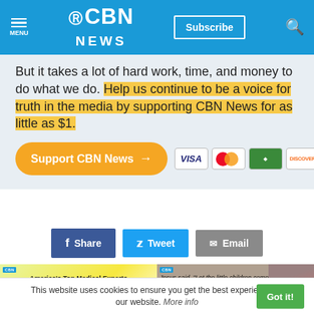CBN NEWS — MENU | Subscribe | Search
But it takes a lot of hard work, time, and money to do what we do. Help us continue to be a voice for truth in the media by supporting CBN News for as little as $1.
[Figure (screenshot): Support CBN News button (orange pill button) and credit card icons (Visa, MasterCard, green card, Discover)]
[Figure (screenshot): Social share buttons: Facebook Share, Twitter Tweet, Email]
[Figure (screenshot): Two article thumbnails: 'America's Top Medical Experts Show You How You Can Protect Your Brain!' and a Jesus quote article with child photo]
This website uses cookies to ensure you get the best experience on our website. More info
Got it!